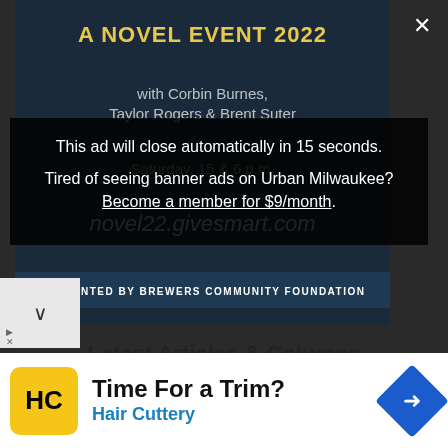[Figure (screenshot): Urban Milwaukee website screenshot showing an ad banner for 'A Novel Event 2022' with Corbin Burnes, Taylor Rogers & Brent Suter, presented by Brewers Community Foundation. URL novel22.givesmart.com shown.]
This ad will close automatically in 15 seconds.
Tired of seeing banner ads on Urban Milwaukee? Become a member for $9/month.
Latest Articles & Columns
City Lets You Paint Your Street or Sidewalk by Jeramey Jannene
Murphy's Law: Will Republicans Give Milwaukee a Sales Tax? by Bruce Murphy
[Figure (screenshot): Bottom banner advertisement for Hair Cuttery: 'Time For a Trim?' with HC logo icon and blue diamond arrow icon.]